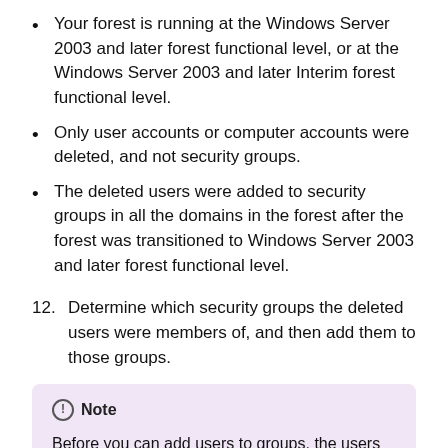Your forest is running at the Windows Server 2003 and later forest functional level, or at the Windows Server 2003 and later Interim forest functional level.
Only user accounts or computer accounts were deleted, and not security groups.
The deleted users were added to security groups in all the domains in the forest after the forest was transitioned to Windows Server 2003 and later forest functional level.
12. Determine which security groups the deleted users were members of, and then add them to those groups.
Note
Before you can add users to groups, the users who you auth restored in step 7 and who you